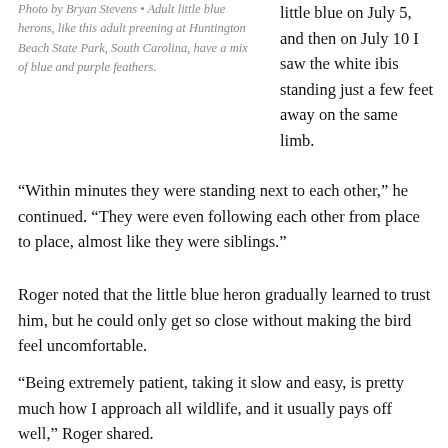Photo by Bryan Stevens • Adult little blue herons, like this adult preening at Huntington Beach State Park, South Carolina, have a mix of blue and purple feathers.
little blue on July 5, and then on July 10 I saw the white ibis standing just a few feet away on the same limb.
“Within minutes they were standing next to each other,” he continued. “They were even following each other from place to place, almost like they were siblings.”
Roger noted that the little blue heron gradually learned to trust him, but he could only get so close without making the bird feel uncomfortable.
“Being extremely patient, taking it slow and easy, is pretty much how I approach all wildlife, and it usually pays off well,” Roger shared.